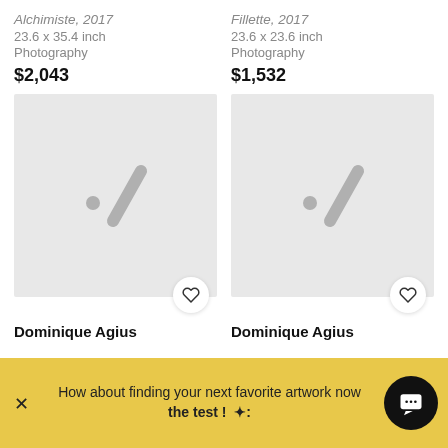Alchimiste, 2017
23.6 x 35.4 inch
Photography
$2,043
[Figure (illustration): Gray placeholder image with Artsper logo watermark and heart favorite button]
Dominique Agius
Fillette, 2017
23.6 x 23.6 inch
Photography
$1,532
[Figure (illustration): Gray placeholder image with Artsper logo watermark and heart favorite button]
Dominique Agius
How about finding your next favorite artwork now the test ! ✦